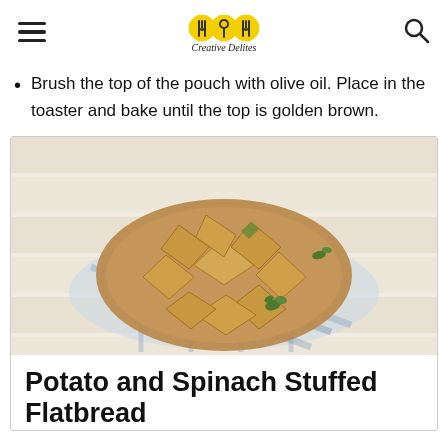Creative Delites
Brush the top of the pouch with olive oil. Place in the toaster and bake until the top is golden brown.
[Figure (photo): Overhead view of golden-brown puff pastry flatbreads arranged on a round wooden board with a blue and white checked cloth on a white wooden surface, garnished with fresh parsley.]
Potato and Spinach Stuffed Flatbread